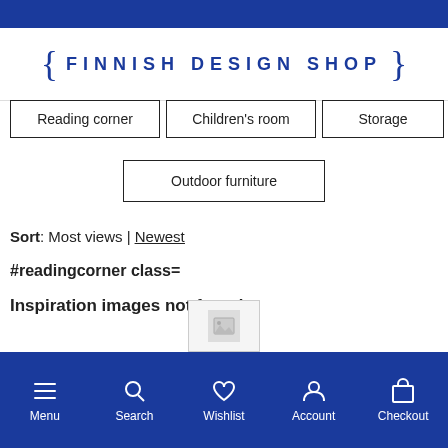Finnish Design Shop
Reading corner
Children's room
Storage
Outdoor furniture
Sort: Most views | Newest
#readingcorner class=
Inspiration images not found
Menu | Search | Wishlist | Account | Checkout